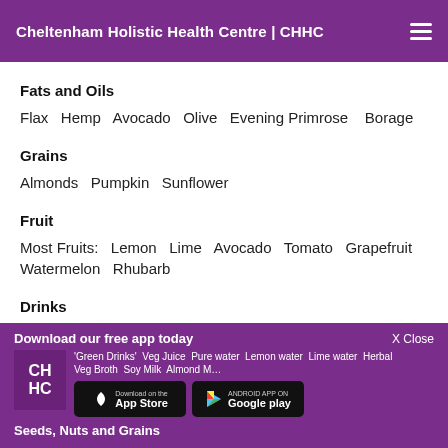Cheltenham Holistic Health Centre | CHHC
Fats and Oils
Flax  Hemp  Avocado  Olive  Evening Primrose  Borage
Grains
Almonds  Pumpkin  Sunflower
Fruit
Most Fruits:  Lemon  Lime  Avocado  Tomato  Grapefruit  Watermelon  Rhubarb
Drinks
'Green Drinks'  Veg Juice  Pure water  Lemon water  Lime water  Herbal  Veg Broth  Soy Milk  Almond M...
Seeds, Nuts and Grains
Download our free app today
X Close